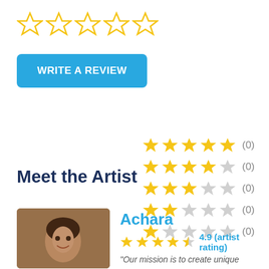[Figure (other): Five empty/outline star rating icons in yellow]
[Figure (other): Blue 'WRITE A REVIEW' button]
[Figure (other): Rating breakdown: 5-star row (0), 4-star row (0), 3-star row (0), 2-star row (0), 1-star row (0)]
Meet the Artist
[Figure (photo): Photo of artist Achara, a smiling middle-aged woman]
Achara
4.9 (artist rating)
"Our mission is to create unique